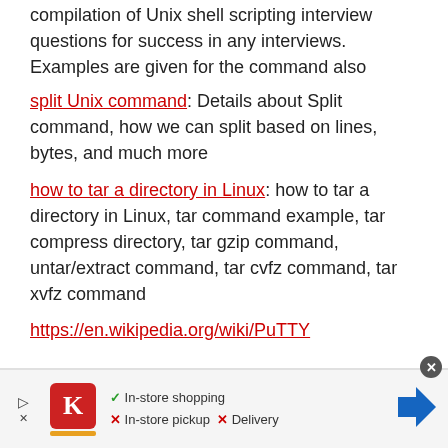compilation of Unix shell scripting interview questions for success in any interviews. Examples are given for the command also
split Unix command: Details about Split command, how we can split based on lines, bytes, and much more
how to tar a directory in Linux: how to tar a directory in Linux, tar command example, tar compress directory, tar gzip command, untar/extract command, tar cvfz command, tar xvfz command
https://en.wikipedia.org/wiki/PuTTY
[Figure (screenshot): Advertisement banner showing Kroger store logo with in-store shopping availability checkmarks and an arrow navigation button]